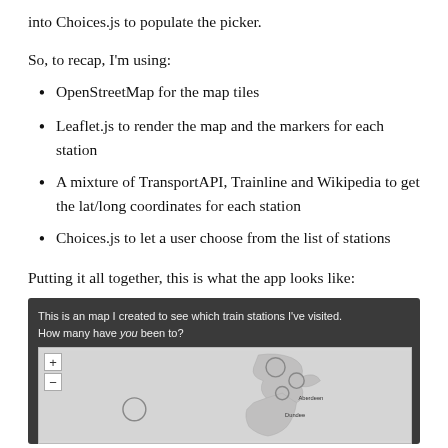into Choices.js to populate the picker.
So, to recap, I'm using:
OpenStreetMap for the map tiles
Leaflet.js to render the map and the markers for each station
A mixture of TransportAPI, Trainline and Wikipedia to get the lat/long coordinates for each station
Choices.js to let a user choose from the list of stations
Putting it all together, this is what the app looks like:
[Figure (screenshot): Screenshot of a web app showing a map of the UK with train station markers. Header text reads 'This is an map I created to see which train stations I've visited. How many have you been to?' with a Leaflet.js map below showing UK geography with circular markers.]